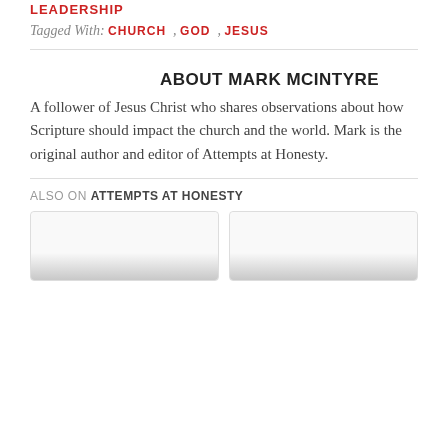LEADERSHIP
Tagged With: CHURCH , GOD , JESUS
ABOUT MARK MCINTYRE
A follower of Jesus Christ who shares observations about how Scripture should impact the church and the world. Mark is the original author and editor of Attempts at Honesty.
ALSO ON ATTEMPTS AT HONESTY
[Figure (illustration): Two card-style image placeholders side by side at the bottom of the page]